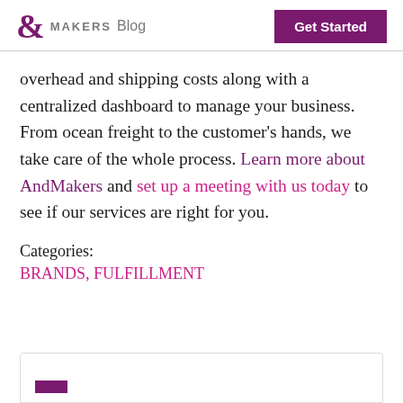& MAKERS Blog | Get Started
overhead and shipping costs along with a centralized dashboard to manage your business. From ocean freight to the customer’s hands, we take care of the whole process. Learn more about AndMakers and set up a meeting with us today to see if our services are right for you.
Categories:
BRANDS, FULFILLMENT